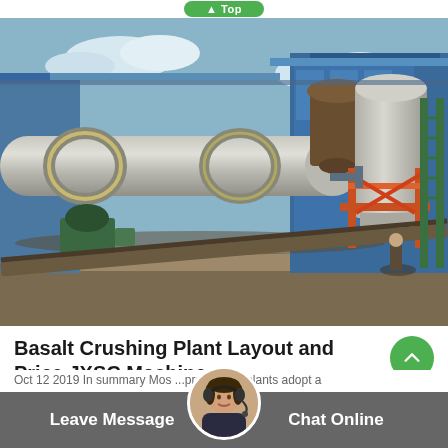[Figure (photo): Industrial basalt crushing plant with large rotary kiln/drum conveyor in foreground, cylindrical silos and blue steel structure in background, outdoor industrial facility]
Basalt Crushing Plant Layout and Price JXSC Machine
Oct 12 2019 In summary Most processing plants adopt a
[Figure (photo): Customer service agent avatar - woman with headset]
Leave Message   Chat Online